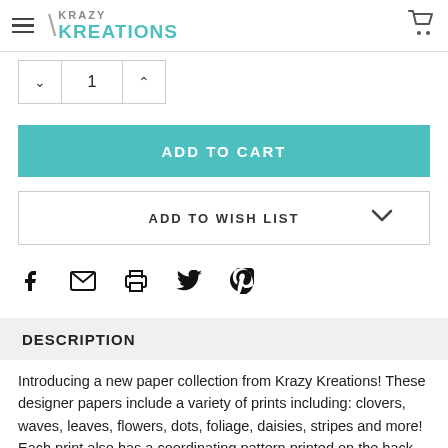Krazy Kreations
[Figure (screenshot): Quantity selector with down arrow, value 1, and up arrow]
[Figure (screenshot): ADD TO CART button in teal]
[Figure (screenshot): ADD TO WISH LIST button with dropdown chevron]
[Figure (screenshot): Social share icons: Facebook, email, print, Twitter, Pinterest]
DESCRIPTION
Introducing a new paper collection from Krazy Kreations! These designer papers include a variety of prints including: clovers, waves, leaves, flowers, dots, foliage, daisies, stripes and more! Each print also has a coordinating pattern printed on the back